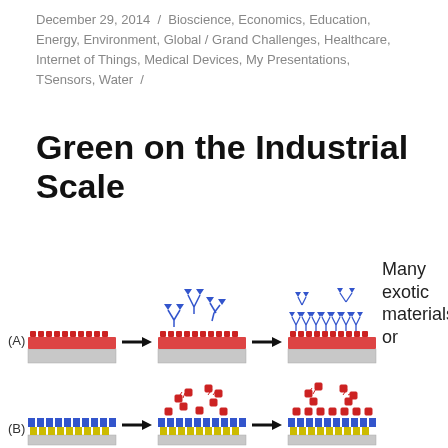December 29, 2014 / Bioscience, Economics, Education, Energy, Environment, Global / Grand Challenges, Healthcare, Internet of Things, Medical Devices, My Presentations, TSensors, Water /
Green on the Industrial Scale
[Figure (illustration): Two-row diagram (A) and (B) showing step-by-step surface functionalization processes. Row A: a flat surface with red bumps (top layer) on grey substrate, arrow to same surface with blue Y-shaped molecules attaching from above, arrow to surface fully covered with blue molecules. Row B: a surface with alternating blue and yellow layered structure on grey substrate, arrow to same surface with red cluster molecules attaching, arrow to final surface with red molecules above yellow-blue layered structure.]
Many exotic materials or